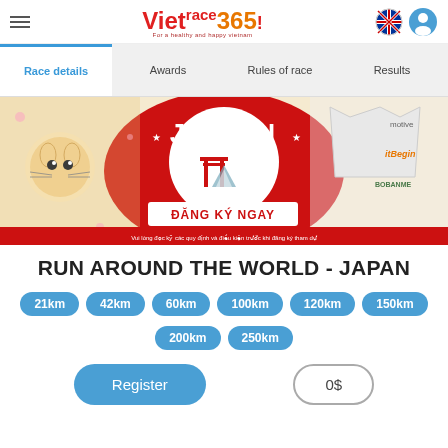Vietrace365 — For a healthy and happy Vietnam
Race details
Awards
Rules of race
Results
[Figure (illustration): Banner for Run Around the World - Japan race event showing Japanese themed artwork with lucky cat, torii gate, and JAPAN text in red and white. Text reads ĐĂNG KÝ NGAY (Register Now).]
RUN AROUND THE WORLD - JAPAN
21km
42km
60km
100km
120km
150km
200km
250km
Register
0$